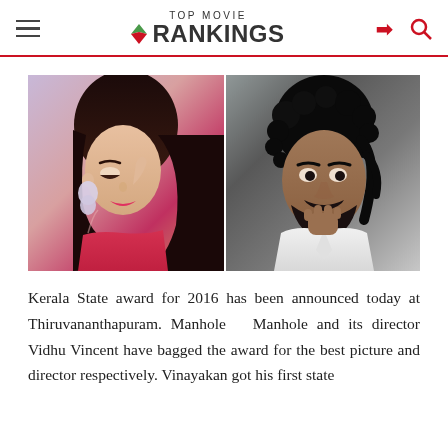TOP MOVIE RANKINGS
[Figure (photo): Two portrait photos side by side: left shows a woman in a red saree with large earrings looking downward; right shows a man with curly hair and beard in a white shirt, hand on chin in a thoughtful pose.]
Kerala State award for 2016 has been announced today at Thiruvananthapuram. Manhole  Manhole and its director Vidhu Vincent have bagged the award for the best picture and director respectively. Vinayakan got his first state